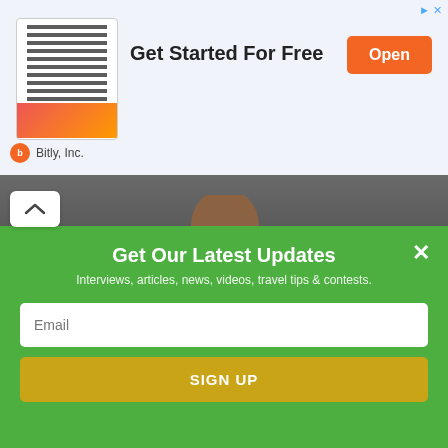[Figure (screenshot): Advertisement banner for Bitly Inc. showing a QR code image on the left, 'Get Started For Free' text in the center, and an orange 'Open' button on the right, with Bitly sponsor logo at the bottom.]
[Figure (photo): Video thumbnail showing a man in a blue shirt standing in a kitchen, holding something, with yellow kitchen cabinets and dark countertops in the background. A white chevron/collapse button is visible at the top left.]
Get Our Latest Updates
Interviews, articles, news, videos, travel tips & contests.
Email
SIGN UP